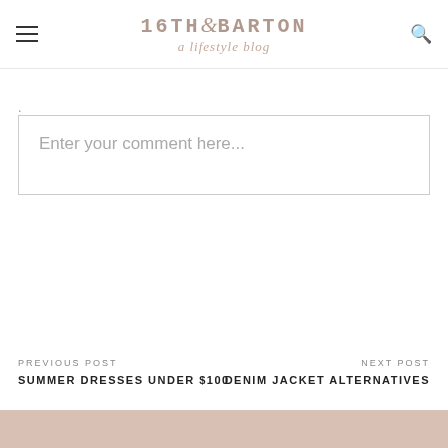16TH & BARTON a lifestyle blog
.
Enter your comment here...
PREVIOUS POST
SUMMER DRESSES UNDER $100
NEXT POST
DENIM JACKET ALTERNATIVES